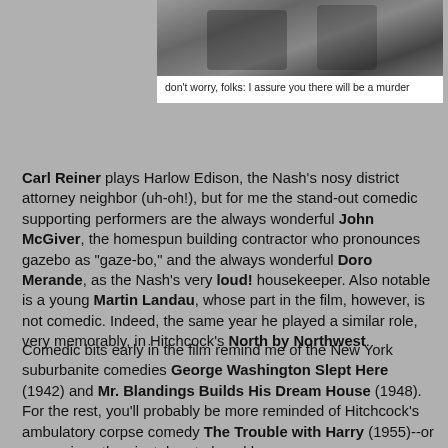[Figure (photo): Black and white photograph showing people, partially visible at top of page]
don't worry, folks: I assure you there will be a murder
Carl Reiner plays Harlow Edison, the Nash's nosy district attorney neighbor (uh-oh!), but for me the stand-out comedic supporting performers are the always wonderful John McGiver, the homespun building contractor who pronounces gazebo as "gaze-bo," and the always wonderful Doro Merande, as the Nash's very loud! housekeeper. Also notable is a young Martin Landau, whose part in the film, however, is not comedic. Indeed, the same year he played a similar role, very memorably, in Hitchcock's North by Northwest.
Comedic bits early in the film remind me of the New York suburbanite comedies George Washington Slept Here (1942) and Mr. Blandings Builds His Dream House (1948). For the rest, you'll probably be more reminded of Hitchcock's ambulatory corpse comedy The Trouble with Harry (1955)--or even, given the pivotal part played by House, the Piano, The Birds (1963). But The Gazebo...